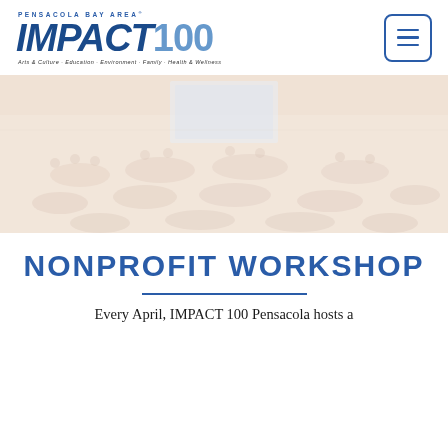[Figure (logo): Pensacola Bay Area IMPACT 100 logo with tagline: Arts & Culture · Education · Environment · Family · Health & Wellness]
[Figure (photo): Faded/washed-out photo of a large indoor gathering or conference event with many attendees seated at tables, viewed from elevated angle, with a presentation screen visible at far end.]
NONPROFIT WORKSHOP
Every April, IMPACT 100 Pensacola hosts a